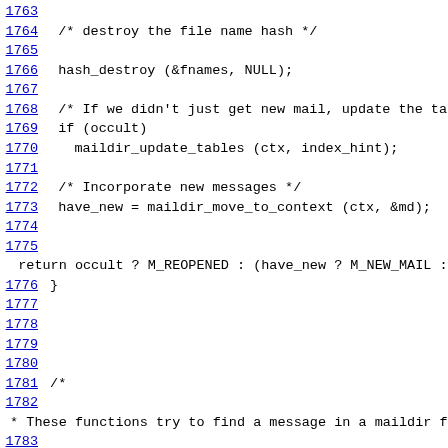Source code listing lines 1763-1784 showing C code for maildir functions
1763 (blank)
1764   /* destroy the file name hash */
1765 (blank)
1766   hash_destroy (&fnames, NULL);
1767 (blank)
1768   /* If we didn't just get new mail, update the tables. */
1769   if (occult)
1770     maildir_update_tables (ctx, index_hint);
1771 (blank)
1772   /* Incorporate new messages */
1773   have_new = maildir_move_to_context (ctx, &md);
1774 (blank)
1775 (blank)
return occult ? M_REOPENED : (have_new ? M_NEW_MAIL : 0)
1776 }
1777 (blank)
1778 (blank)
1779 (blank)
1780 (blank)
1781 /*
1782 (blank)
* These functions try to find a message in a maildir folder when it
1783 (blank)
* has moved under our feet.  Note that this code is rather expensive,
1784  * then again, it's called rarely.